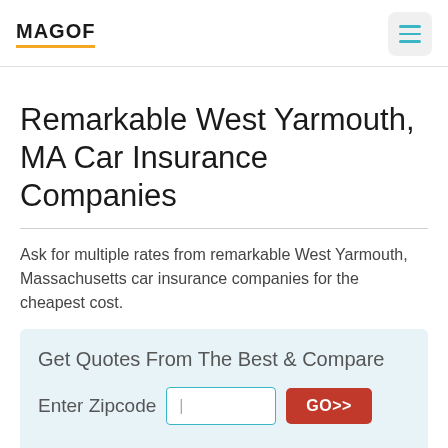MAGOF
Remarkable West Yarmouth, MA Car Insurance Companies
Ask for multiple rates from remarkable West Yarmouth, Massachusetts car insurance companies for the cheapest cost.
Get Quotes From The Best & Compare
Enter Zipcode  GO>>